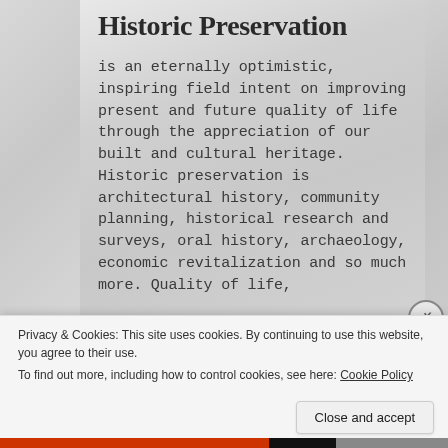Historic Preservation
is an eternally optimistic, inspiring field intent on improving present and future quality of life through the appreciation of our built and cultural heritage. Historic preservation is architectural history, community planning, historical research and surveys, oral history, archaeology, economic revitalization and so much more. Quality of life,
Privacy & Cookies: This site uses cookies. By continuing to use this website, you agree to their use.
To find out more, including how to control cookies, see here: Cookie Policy